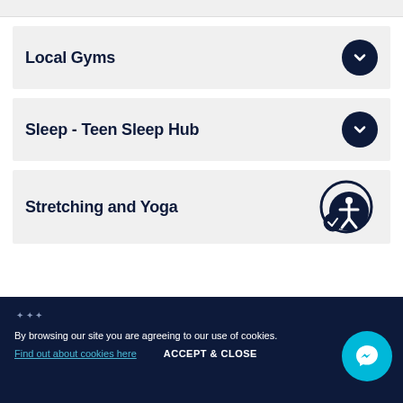Local Gyms
Sleep - Teen Sleep Hub
Stretching and Yoga
By browsing our site you are agreeing to our use of cookies. Find out about cookies here  ACCEPT & CLOSE